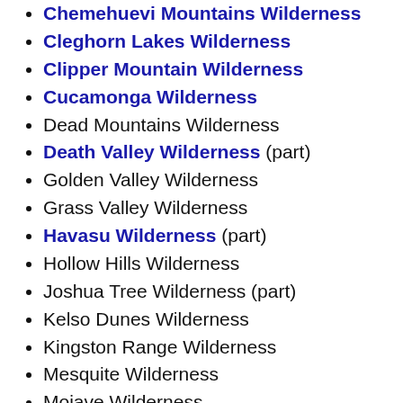Chemehuevi Mountains Wilderness
Cleghorn Lakes Wilderness
Clipper Mountain Wilderness
Cucamonga Wilderness
Dead Mountains Wilderness
Death Valley Wilderness (part)
Golden Valley Wilderness
Grass Valley Wilderness
Havasu Wilderness (part)
Hollow Hills Wilderness
Joshua Tree Wilderness (part)
Kelso Dunes Wilderness
Kingston Range Wilderness
Mesquite Wilderness
Mojave Wilderness
Newberry Mountains Wilderness
North Mesquite Mountains Wilderness
Old Woman Mountains Wilderness
Pahrump Valley Wilderness (part)
Piute Mountains Wilderness
Rodman Mountains Wilderness